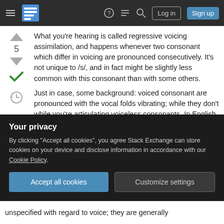Stack Exchange navigation bar with logo, help, chat, search, Log in, Sign up
What you're hearing is called regressive voicing assimilation, and happens whenever two consonant which differ in voicing are pronounced consecutively. It's not unique to /s/, and in fact might be slightly less common with this consonant than with some others.
Just in case, some background: voiced consonant are pronounced with the vocal folds vibrating; while they don't while you're articulating voiceless consonants. In English, stout and doubt, as well as
Your privacy
By clicking "Accept all cookies", you agree Stack Exchange can store cookies on your device and disclose information in accordance with our Cookie Policy.
unspecified with regard to voice; they are generally